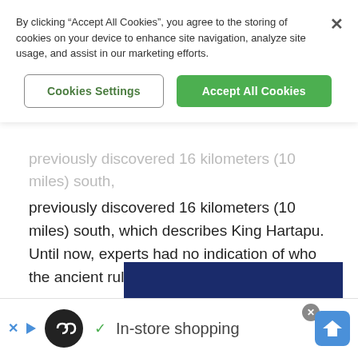By clicking “Accept All Cookies”, you agree to the storing of cookies on your device to enhance site navigation, analyze site usage, and assist in our marketing efforts.
Cookies Settings | Accept All Cookies
previously discovered 16 kilometers (10 miles) south, which describes King Hartapu. Until now, experts had no indication of who the ancient ruler was.
[Figure (screenshot): Advertisement banner with dark blue background and yellow bold text reading 'DAS BESTE NETZ']
[Figure (screenshot): Bottom ad bar with black circular logo, green checkmark, and text 'In-store shopping', with blue navigation arrow icon on right]